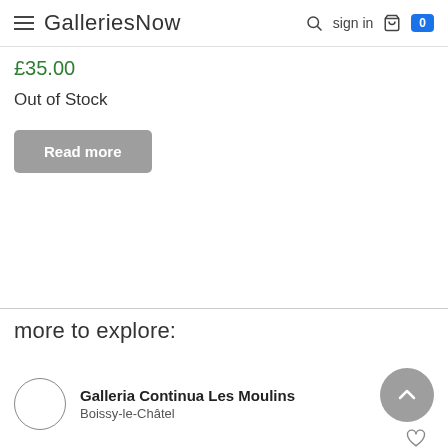GalleriesNow
£35.00
Out of Stock
Read more
more to explore:
Galleria Continua Les Moulins
Boissy-le-Châtel